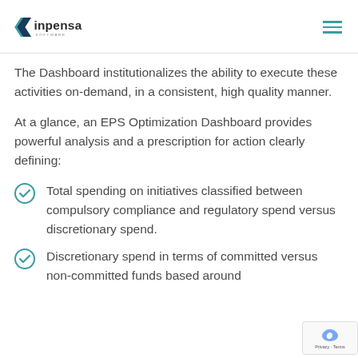inpensa SOFTWARE
The Dashboard institutionalizes the ability to execute these activities on-demand, in a consistent, high quality manner.
At a glance, an EPS Optimization Dashboard provides powerful analysis and a prescription for action clearly defining:
Total spending on initiatives classified between compulsory compliance and regulatory spend versus discretionary spend.
Discretionary spend in terms of committed versus non-committed funds based around